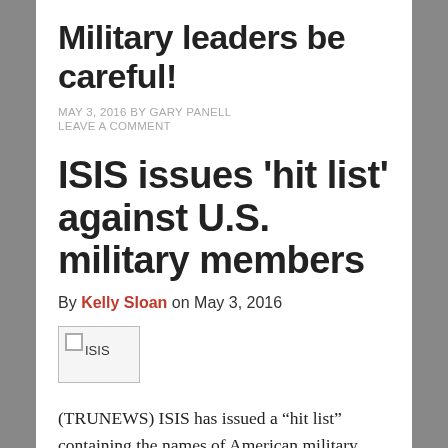Military leaders be careful!
MAY 3, 2016 BY GARY PANELL
LEAVE A COMMENT
ISIS issues 'hit list' against U.S. military members
By Kelly Sloan on May 3, 2016
[Figure (other): Broken image placeholder labeled ISIS]
(TRUNEWS) ISIS has issued a “hit list” containing the names of American military personnel.